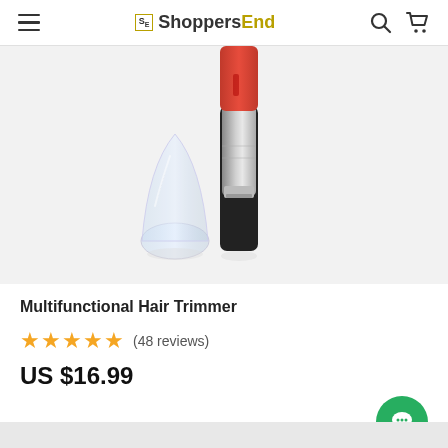ShoppersEnd
[Figure (photo): Product photo of a multifunctional hair trimmer with red/orange and silver/black body, with a transparent plastic protective cap leaning against it, on a white background.]
Multifunctional Hair Trimmer
★★★★★ (48 reviews)
US $16.99